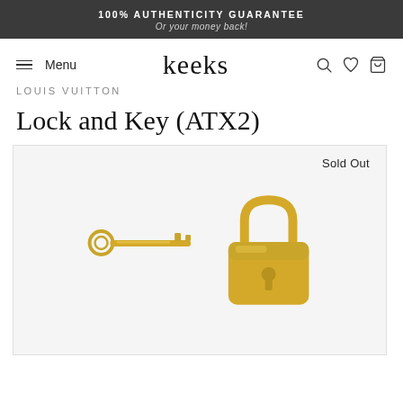100% AUTHENTICITY GUARANTEE
Or your money back!
Menu
keeks
LOUIS VUITTON
Lock and Key (ATX2)
Sold Out
[Figure (photo): Gold Louis Vuitton lock and key set on a light background]